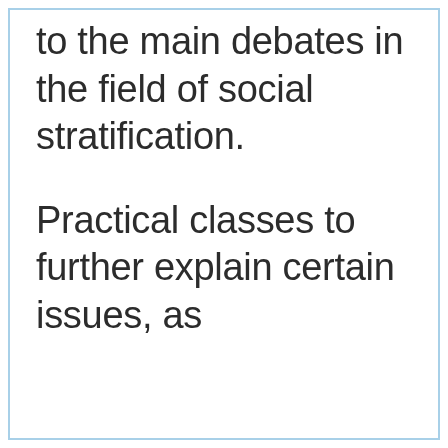to the main debates in the field of social stratification.
Practical classes to further explain certain issues, as